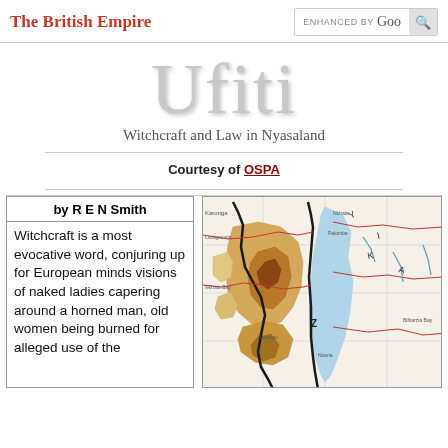The British Empire
Ufiti
Witchcraft and Law in Nyasaland
Courtesy of OSPA
by R E N Smith
Witchcraft is a most evocative word, conjuring up for European minds visions of naked ladies capering around a horned man, old women being burned for alleged use of the
[Figure (map): A regional map of Nyasaland (Malawi) showing topographical features, lakes (light blue), highlands (brown/orange tones), borders (thick black lines), roads (red lines), and grid lines. Geographic labels visible including Y, K, Z and other place names.]